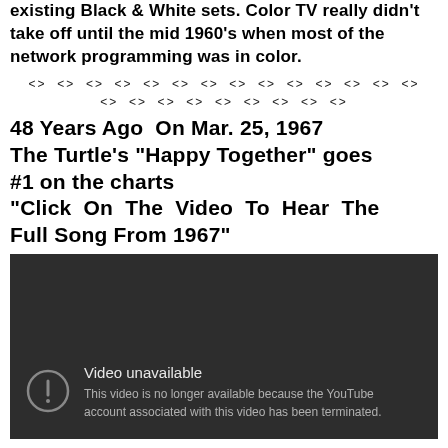existing Black & White sets. Color TV really didn't take off until the mid 1960's when most of the network programming was in color.
<> <> <> <> <> <> <> <> <> <> <> <> <> <>
<> <> <> <> <> <> <> <> <>
48 Years Ago On Mar. 25, 1967 The Turtle's "Happy Together" goes #1 on the charts "Click On The Video To Hear The Full Song From 1967"
[Figure (screenshot): YouTube video unavailable placeholder with dark background, warning icon, text 'Video unavailable' and 'This video is no longer available because the YouTube account associated with this video has been terminated.']